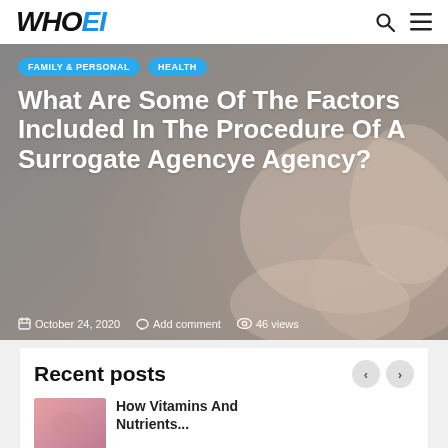WHOEI
[Figure (photo): Medical/clinical background image showing gloved hands, used as hero image background]
FAMILY & PERSONAL   HEALTH
What Are Some Of The Factors Included In The Procedure Of A Surrogate Agencye Agency?
October 24, 2020   Add comment   46 views
Recent posts
How Vitamins And Nutrients...